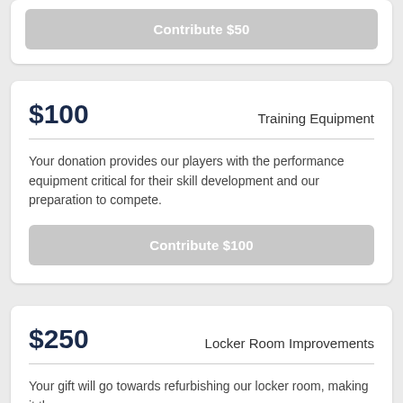Contribute $50
$100
Training Equipment
Your donation provides our players with the performance equipment critical for their skill development and our preparation to compete.
Contribute $100
$250
Locker Room Improvements
Your gift will go towards refurbishing our locker room, making it the